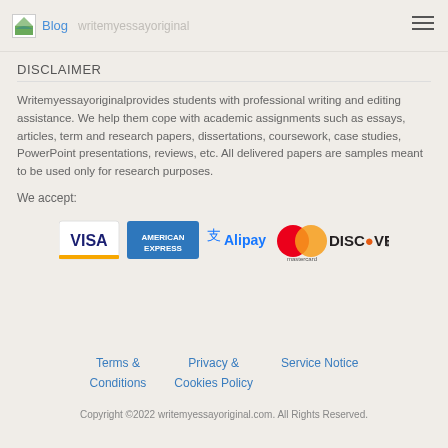Blog writemyessayoriginal
DISCLAIMER
Writemyessayoriginalprovides students with professional writing and editing assistance. We help them cope with academic assignments such as essays, articles, term and research papers, dissertations, coursework, case studies, PowerPoint presentations, reviews, etc. All delivered papers are samples meant to be used only for research purposes.
We accept:
[Figure (logo): Payment method logos: VISA, American Express, Alipay, Mastercard, DISCOVER]
Terms & Conditions
Privacy & Cookies Policy
Service Notice
Copyright ©2022 writemyessayoriginal.com. All Rights Reserved.